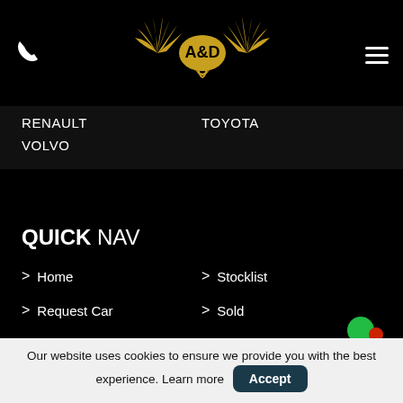[Figure (logo): A&D logo with golden eagle wings on black background]
RENAULT
TOYOTA
VOLVO
QUICK NAV
> Home
> Stocklist
> Request Car
> Sold
> Finance
> Service
> Warranty
> Sell / Part Exchange
Our website uses cookies to ensure we provide you with the best experience. Learn more  Accept